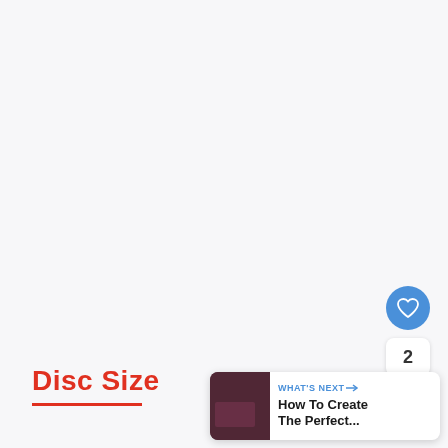Disc Size
[Figure (screenshot): Screenshot of a web/app interface showing a mostly blank light gray content area. On the right side there is a blue circular heart/favorite button, a count badge showing '2', and a white circular share button with a share icon. In the bottom right corner there is a 'What's Next' card with a thumbnail image and text 'How To Create The Perfect...']